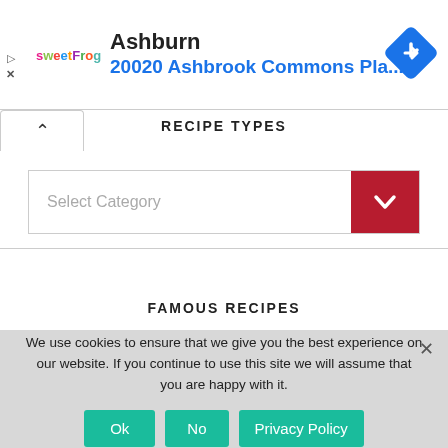[Figure (screenshot): Ad banner with sweetFrog logo, location 'Ashburn', address '20020 Ashbrook Commons Pla...' and a blue navigation diamond icon]
RECIPE TYPES
[Figure (screenshot): Dropdown selector with placeholder 'Select Category' and a dark red chevron button on the right]
FAMOUS RECIPES
We use cookies to ensure that we give you the best experience on our website. If you continue to use this site we will assume that you are happy with it.
Ok  No  Privacy Policy